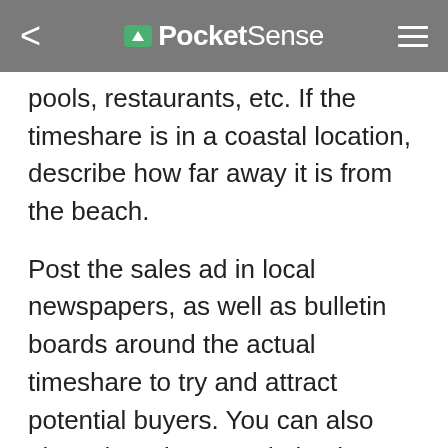PocketSense
pools, restaurants, etc. If the timeshare is in a coastal location, describe how far away it is from the beach.
Post the sales ad in local newspapers, as well as bulletin boards around the actual timeshare to try and attract potential buyers. You can also place the ad on a website that specializes in selling timeshares such as the ones listed in the Resources section.
Reach an agreement with the buyer and write up a purchase agreement. It's a good